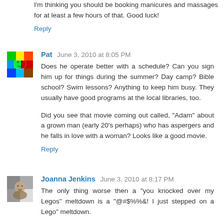I'm thinking you should be booking manicures and massages for at least a few hours of that. Good luck!
Reply
Pat  June 3, 2010 at 8:05 PM
Does he operate better with a schedule? Can you sign him up for things during the summer? Day camp? Bible school? Swim lessons? Anything to keep him busy. They usually have good programs at the local libraries, too.
Did you see that movie coming out called, "Adam" about a grown man (early 20's perhaps) who has aspergers and he falls in love with a woman? Looks like a good movie.
Reply
Joanna Jenkins  June 3, 2010 at 8:17 PM
The only thing worse then a "you knocked over my Legos" meltdown is a "@#$%%&! I just stepped on a Lego" meltdown.